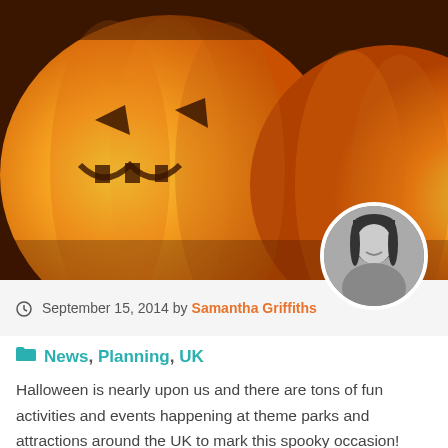[Figure (photo): Close-up photo of illuminated Halloween jack-o'-lantern pumpkins with orange glow]
[Figure (photo): Circular author portrait photo of Samantha Griffiths, black and white]
September 15, 2014 by Samantha Griffiths
News, Planning, UK
Halloween is nearly upon us and there are tons of fun activities and events happening at theme parks and attractions around the UK to mark this spooky occasion!
Starting to plan how you and your family are going to celebrate this year? Here's a quick summary of the Halloween attractions on offer this autumn…